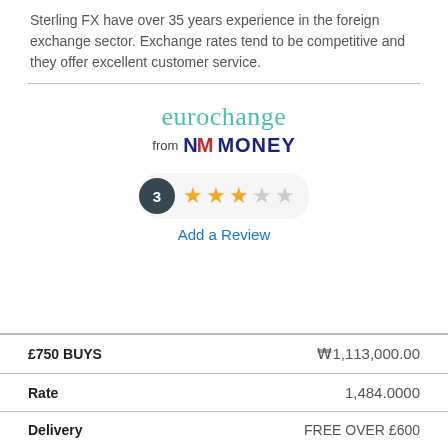Sterling FX have over 35 years experience in the foreign exchange sector. Exchange rates tend to be competitive and they offer excellent customer service.
[Figure (logo): eurochange from NM MONEY logo]
[Figure (infographic): Rating badge showing 3 reviews with 3 out of 5 stars filled, and an 'Add a Review' link]
|  |  |
| --- | --- |
| £750 BUYS | ₩1,113,000.00 |
| Rate | 1,484.0000 |
| Delivery | FREE OVER £600 |